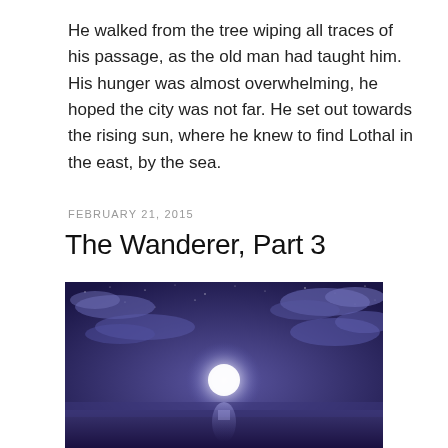He walked from the tree wiping all traces of his passage, as the old man had taught him. His hunger was almost overwhelming, he hoped the city was not far. He set out towards the rising sun, where he knew to find Lothal in the east, by the sea.
FEBRUARY 21, 2015
The Wanderer, Part 3
[Figure (illustration): A digital illustration of a moonlit night sky over a dark sea. The sky is deep purple-blue with clouds and stars. A bright full moon glows in the center, reflected on the calm water below.]